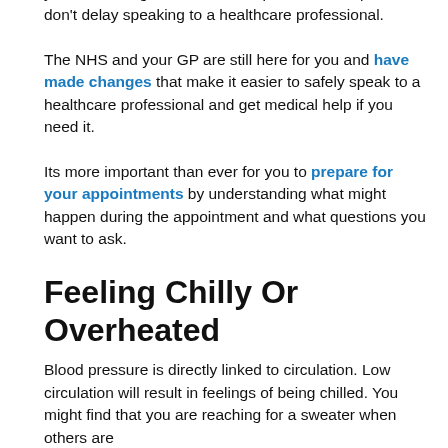your GP during the coronavirus pandemic but please don't delay speaking to a healthcare professional.
The NHS and your GP are still here for you and have made changes that make it easier to safely speak to a healthcare professional and get medical help if you need it.
Its more important than ever for you to prepare for your appointments by understanding what might happen during the appointment and what questions you want to ask.
Feeling Chilly Or Overheated
Blood pressure is directly linked to circulation. Low circulation will result in feelings of being chilled. You might find that you are reaching for a sweater when others are